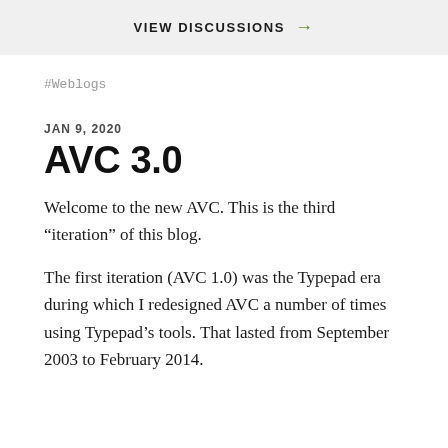VIEW DISCUSSIONS →
#Weblogs
JAN 9, 2020
AVC 3.0
Welcome to the new AVC. This is the third “iteration” of this blog.
The first iteration (AVC 1.0) was the Typepad era during which I redesigned AVC a number of times using Typepad’s tools. That lasted from September 2003 to February 2014.